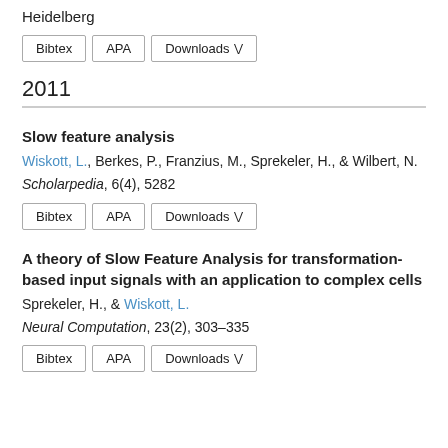Heidelberg
Bibtex | APA | Downloads
2011
Slow feature analysis
Wiskott, L., Berkes, P., Franzius, M., Sprekeler, H., & Wilbert, N.
Scholarpedia, 6(4), 5282
Bibtex | APA | Downloads
A theory of Slow Feature Analysis for transformation-based input signals with an application to complex cells
Sprekeler, H., & Wiskott, L.
Neural Computation, 23(2), 303–335
Bibtex | APA | Downloads